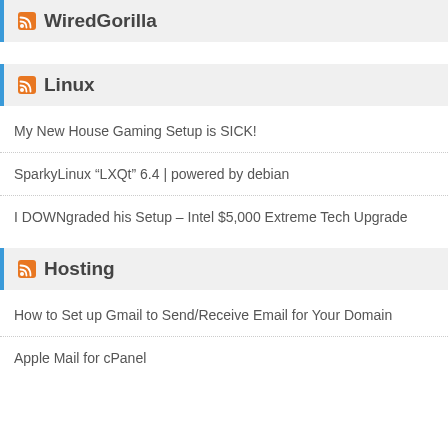WiredGorilla
Linux
My New House Gaming Setup is SICK!
SparkyLinux “LXQt” 6.4 | powered by debian
I DOWNgraded his Setup – Intel $5,000 Extreme Tech Upgrade
Hosting
How to Set up Gmail to Send/Receive Email for Your Domain
Apple Mail for cPanel